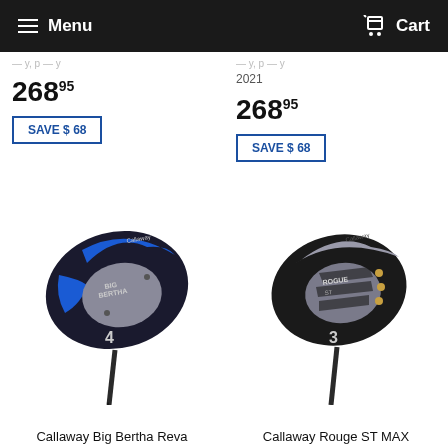Menu | Cart
268 95
SAVE $ 68
2021
268 95
SAVE $ 68
[Figure (photo): Callaway Big Bertha Reva golf hybrid club with blue and black design, number 4]
Callaway Big Bertha Reva
[Figure (photo): Callaway Rouge ST MAX golf hybrid club with silver and black design, number 3, gold accent dots]
Callaway Rouge ST MAX